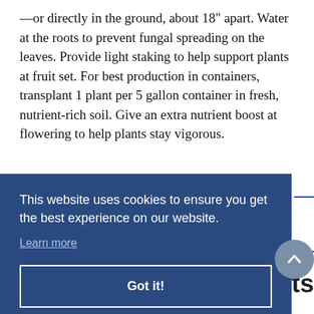—or directly in the ground, about 18" apart. Water at the roots to prevent fungal spreading on the leaves. Provide light staking to help support plants at fruit set. For best production in containers, transplant 1 plant per 5 gallon container in fresh, nutrient-rich soil. Give an extra nutrient boost at flowering to help plants stay vigorous.
Quick Facts
This website uses cookies to ensure you get the best experience on our website. Learn more
Got it!
[Figure (photo): Partial bottom image showing yellow produce (likely squash or lemon), cropped at bottom of page]